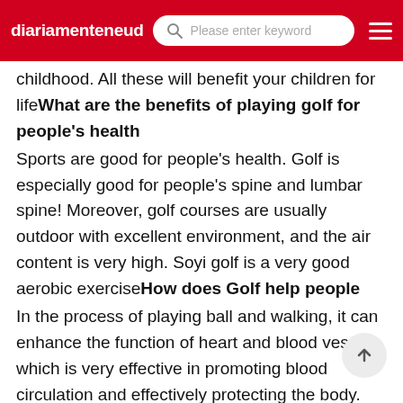diariamenteneud | Please enter keyword
childhood. All these will benefit your children for lifeWhat are the benefits of playing golf for people's health
Sports are good for people's health. Golf is especially good for people's spine and lumbar spine! Moreover, golf courses are usually outdoor with excellent environment, and the air content is very high. Soyi golf is a very good aerobic exerciseHow does Golf help people
In the process of playing ball and walking, it can enhance the function of heart and blood vessels, which is very effective in promoting blood circulation and effectively protecting the body. Precautions for playing golf 1 First of all, you should adjust your state before playing. State, as the name suggests, is shape and attitude. Before playing, you should hold your head high and be energetic. Before playingWhat are the benefits of playing golf
Playing sports on the court can make the brain breathe fully